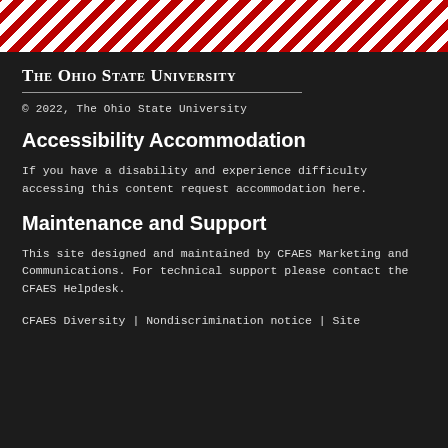[Figure (other): Diagonal red and white striped banner bar at the top of the page]
The Ohio State University
© 2022, The Ohio State University
Accessibility Accommodation
If you have a disability and experience difficulty accessing this content request accommodation here.
Maintenance and Support
This site designed and maintained by CFAES Marketing and Communications. For technical support please contact the CFAES Helpdesk.
CFAES Diversity | Nondiscrimination notice | Site